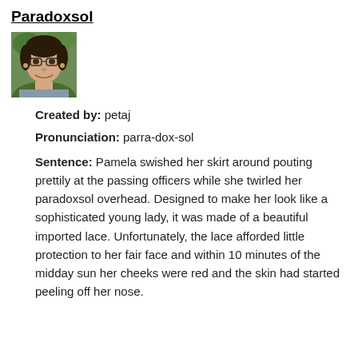Paradoxsol
[Figure (photo): Small profile photo of a woman with glasses and dark hair, smiling, with green outdoor background]
Created by: petaj
Pronunciation: parra-dox-sol
Sentence: Pamela swished her skirt around pouting prettily at the passing officers while she twirled her paradoxsol overhead. Designed to make her look like a sophisticated young lady, it was made of a beautiful imported lace. Unfortunately, the lace afforded little protection to her fair face and within 10 minutes of the midday sun her cheeks were red and the skin had started peeling off her nose.